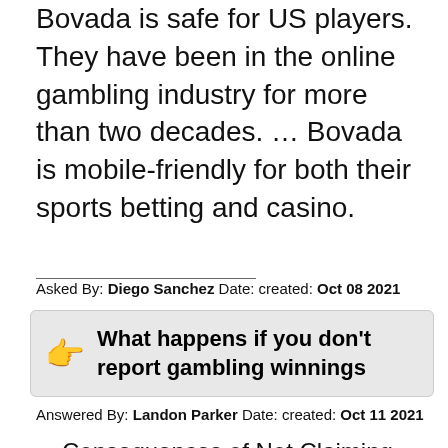Bovada is safe for US players. They have been in the online gambling industry for more than two decades. … Bovada is mobile-friendly for both their sports betting and casino.
Asked By: Diego Sanchez Date: created: Oct 08 2021
What happens if you don't report gambling winnings
Answered By: Landon Parker Date: created: Oct 11 2021
Consequences of Not Claiming Casino Winnings on Your Taxes Put another way, there is no legal outcome if you fail to report your gambling winnings. However, there is a possibility that your tax office won't bother you if you have won and failed to report anything below